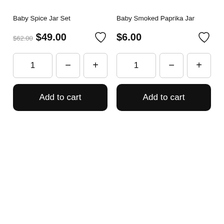Baby Spice Jar Set
$62.00 $49.00
Baby Smoked Paprika Jar
$6.00
Add to cart
Add to cart